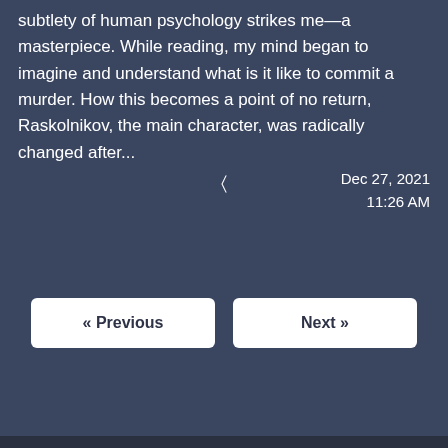subtlety of human psychology strikes me—a masterpiece. While reading, my mind began to imagine and understand what is it like to commit a murder. How this becomes a point of no return, Raskolnikov, the main character, was radically changed after...
Dec 27, 2021
11:26 AM
« Previous
Next »